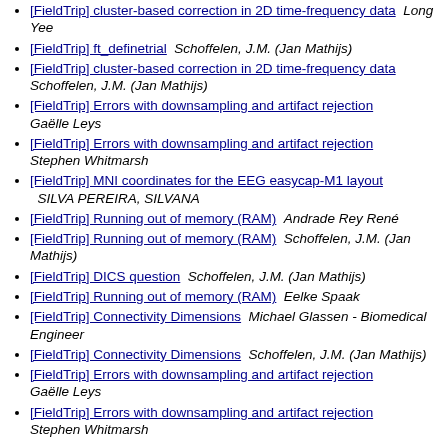[FieldTrip] cluster-based correction in 2D time-frequency data   Long Yee
[FieldTrip] ft_definetrial   Schoffelen, J.M. (Jan Mathijs)
[FieldTrip] cluster-based correction in 2D time-frequency data   Schoffelen, J.M. (Jan Mathijs)
[FieldTrip] Errors with downsampling and artifact rejection   Gaëlle Leys
[FieldTrip] Errors with downsampling and artifact rejection   Stephen Whitmarsh
[FieldTrip] MNI coordinates for the EEG easycap-M1 layout   SILVA PEREIRA, SILVANA
[FieldTrip] Running out of memory (RAM)   Andrade Rey René
[FieldTrip] Running out of memory (RAM)   Schoffelen, J.M. (Jan Mathijs)
[FieldTrip] DICS question   Schoffelen, J.M. (Jan Mathijs)
[FieldTrip] Running out of memory (RAM)   Eelke Spaak
[FieldTrip] Connectivity Dimensions   Michael Glassen - Biomedical Engineer
[FieldTrip] Connectivity Dimensions   Schoffelen, J.M. (Jan Mathijs)
[FieldTrip] Errors with downsampling and artifact rejection   Gaëlle Leys
[FieldTrip] Errors with downsampling and artifact rejection   Stephen Whitmarsh